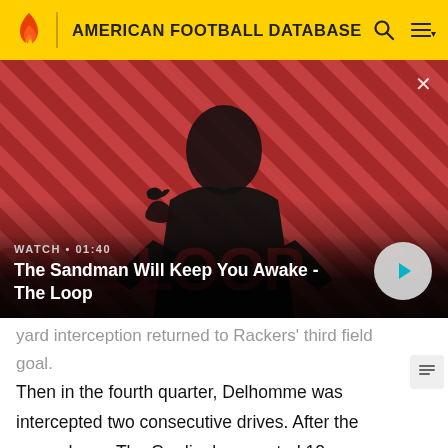AMERICAN FOOTBALL DATABASE
[Figure (screenshot): Video thumbnail showing a dark figure with a raven on shoulder against red diagonal stripe background. Title: 'The Sandman Will Keep You Awake - The Loop'. Duration: 01:40. WATCH label visible.]
yard interception returned to Rackers' third field goal. Then in the fourth quarter, Delhomme was intercepted two consecutive drives. After the second one, The Cardinals executed 12 consecutive running plays with Hightower, gaining 48 yards and setting up Rackers' fourth field goal.